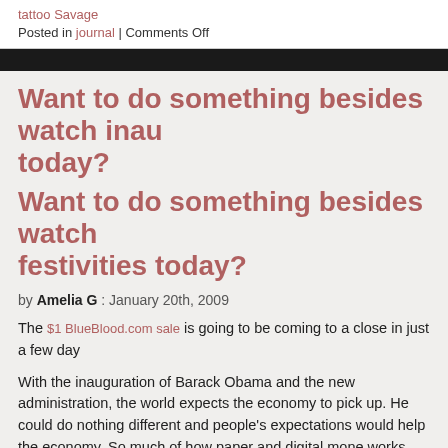tattoo Savage
Posted in journal | Comments Off
Want to do something besides watch inau today?
Want to do something besides watch festivities today?
by Amelia G : January 20th, 2009
The $1 BlueBlood.com sale is going to be coming to a close in just a few day
With the inauguration of Barack Obama and the new administration, the world expects the economy to pick up. He could do nothing different and people's expectations would help the economy. So much of how paper and digital mone works has to do with trust and faith.
So we have faith that, pretty soon, everyone is going to be able to afford more $1 for a BlueBlood VIP membership. There has never been a Blue Blood sal discounted before, and there very likely never will be again, and this one is al